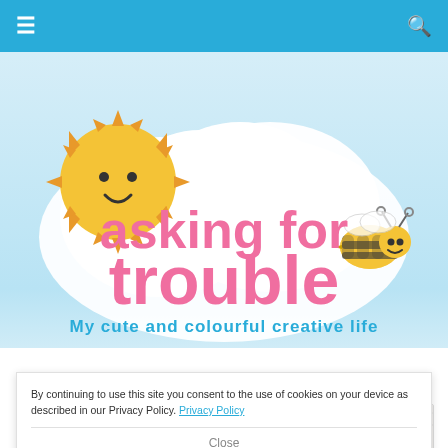≡  🔍
[Figure (logo): Asking for Trouble blog logo — cute cartoon sun and bee on a cloud background with text 'asking for trouble' in pink and 'My cute and colourful creative life' in blue]
CREATIVE WORK, ON-DEMAND NEWS
A note for my fabric buyers
By continuing to use this site you consent to the use of cookies on your device as described in our Privacy Policy. Privacy Policy
Close
[Figure (photo): Partial photo of sewing/craft materials — appears to show fabric or paper with stitching lines]